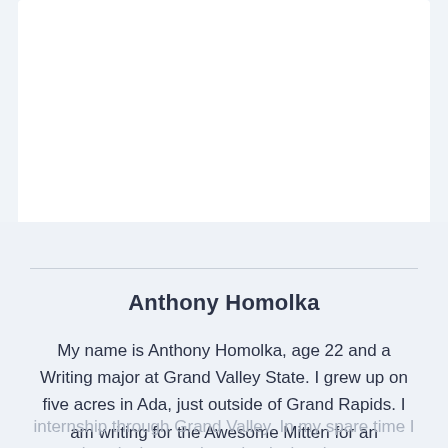Anthony Homolka
My name is Anthony Homolka, age 22 and a Writing major at Grand Valley State. I grew up on five acres in Ada, just outside of Grand Rapids. I am writing for the Awesome Mitten for an internship through Grand Valley. In my spare time I enjoy playing tennis and enjoying the great